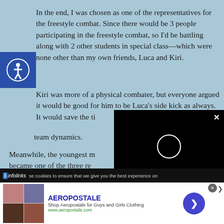In the end, I was chosen as one of the representatives for the freestyle combat. Since there would be 3 people participating in the freestyle combat, so I'd be battling along with 2 other students in special class—which were none other than my own friends, Luca and Kiri.
Kiri was more of a physical combater, but everyone argued it would be good for him to be Luca's side kick as always. It would save the ti... team dynamics.
Meanwhile, the youngest m... became one of the three re...
...competition as expected. Many had men
[Figure (screenshot): Black video player overlay with white circular loading/play indicator and X close button]
[Figure (screenshot): Cookie consent bar from infolinks reading 'se cookies to ensure that we give you the best experience on']
[Figure (screenshot): Aeropostale advertisement banner with clothing images, brand name, tagline 'Shop Aeropostale for Guys and Girls Clothing', URL www.aeropostale.com, blue arrow button, and close X button]